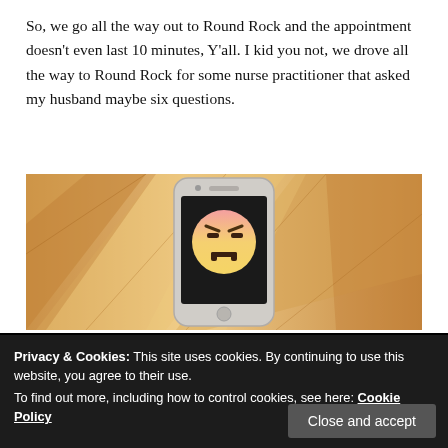So, we go all the way out to Round Rock and the appointment doesn't even last 10 minutes, Y'all. I kid you not, we drove all the way to Round Rock for some nurse practitioner that asked my husband maybe six questions.
[Figure (photo): A smartphone lying on a wooden surface displaying an angry face emoji on its black screen.]
Privacy & Cookies: This site uses cookies. By continuing to use this website, you agree to their use.
To find out more, including how to control cookies, see here: Cookie Policy